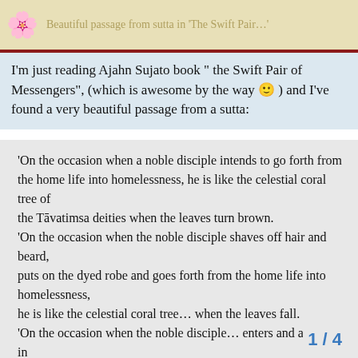Beautiful passage from sutta in 'The Swift Pair...'
I'm just reading Ajahn Sujato book 'The Swift Pair of Messengers', (which is awesome by the way 🙂) and I've found a very beautiful passage from a sutta:
'On the occasion when a noble disciple intends to go forth from the home life into homelessness, he is like the celestial coral tree of the Tāvatimsa deities when the leaves turn brown. 'On the occasion when the noble disciple shaves off hair and beard, puts on the dyed robe and goes forth from the home life into homelessness, he is like the celestial coral tree… when the leaves fall. 'On the occasion when the noble disciple… enters and abides in the first jhāna, he is like the celestial c
1 / 4